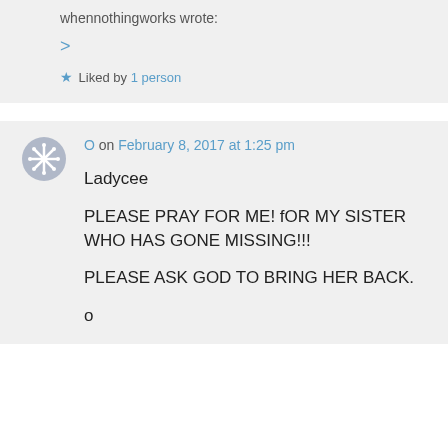whennothingworks wrote:
>
★ Liked by 1 person
O on February 8, 2017 at 1:25 pm
Ladycee

PLEASE PRAY FOR ME! fOR MY SISTER WHO HAS GONE MISSING!!!

PLEASE ASK GOD TO BRING HER BACK.

o